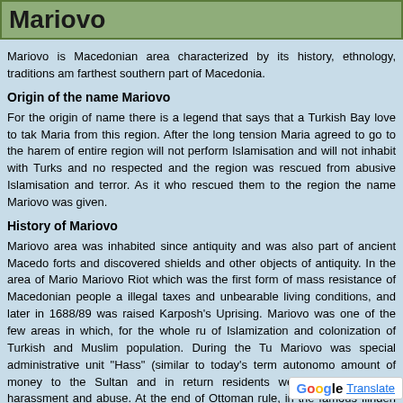Mariovo
Mariovo is Macedonian area characterized by its history, ethnology, traditions and farthest southern part of Macedonia.
Origin of the name Mariovo
For the origin of name there is a legend that says that a Turkish Bay love to take Maria from this region. After the long tension Maria agreed to go to the harem of entire region will not perform Islamisation and will not inhabit with Turks and no respected and the region was rescued from abusive Islamisation and terror. As it who rescued them to the region the name Mariovo was given.
History of Mariovo
Mariovo area was inhabited since antiquity and was also part of ancient Macedo forts and discovered shields and other objects of antiquity. In the area of Mario Mariovo Riot which was the first form of mass resistance of Macedonian people a illegal taxes and unbearable living conditions, and later in 1688/89 was raised Karposh's Uprising. Mariovo was one of the few areas in which, for the whole ru of Islamization and colonization of Turkish and Muslim population. During the Tu Mariovo was special administrative unit "Hass" (similar to today's term autonomo amount of money to the Sultan and in return residents were not subjects o harassment and abuse. At the end of Ottoman rule, in the famous Ilinden period with the Turkish army, as commander of the Regional area. Mariovo always Macedonian region not only to Turkish authorities, but also for all further occupati
Geographical features of Mariovo
Mariovo is hilly - mountain region in southern part of Republic of Macedonia (or t between the slopes of Selechka Mountain, Nidze, Kozjak and Bozoved Mounta the whole area of Mariovo Black River flows (middle flow) w